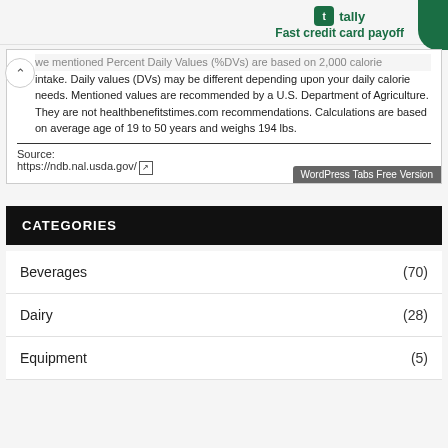[Figure (logo): Tally app logo with text 'Fast credit card payoff' in green]
we mentioned Percent Daily Values (%DVs) are based on 2,000 calorie intake. Daily values (DVs) may be different depending upon your daily calorie needs. Mentioned values are recommended by a U.S. Department of Agriculture. They are not healthbenefitstimes.com recommendations. Calculations are based on average age of 19 to 50 years and weighs 194 lbs.
Source:
https://ndb.nal.usda.gov/
CATEGORIES
Beverages (70)
Dairy (28)
Equipment (5)